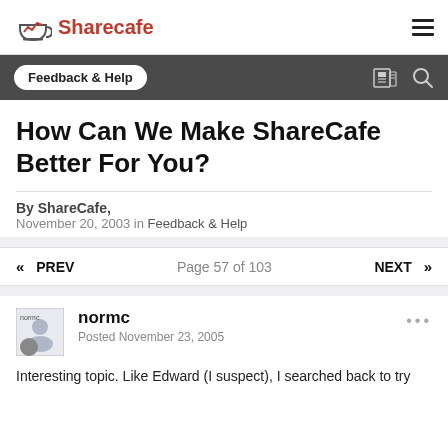Sharecafe
Feedback & Help
How Can We Make ShareCafe Better For You?
By ShareCafe, November 20, 2003 in Feedback & Help
« PREV   Page 57 of 103   NEXT »
normc
Posted November 23, 2005
Interesting topic. Like Edward (I suspect), I searched back to try